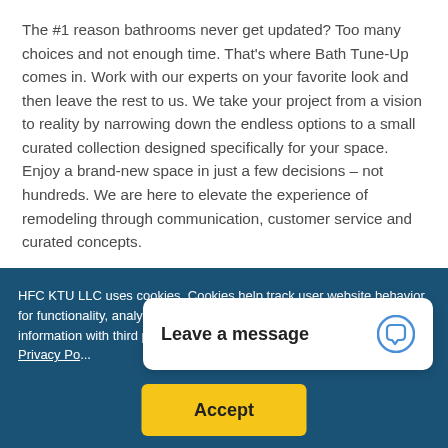The #1 reason bathrooms never get updated? Too many choices and not enough time. That's where Bath Tune-Up comes in. Work with our experts on your favorite look and then leave the rest to us. We take your project from a vision to reality by narrowing down the endless options to a small curated collection designed specifically for your space. Enjoy a brand-new space in just a few decisions – not hundreds. We are here to elevate the experience of remodeling through communication, customer service and curated concepts.
HFC KTU LLC uses cookies. Cookies help track user website behavior for functionality, analytics, and marketing and may share your information with third parties. By visiting this we... out more review our Privacy Po...
Leave a message
Accept